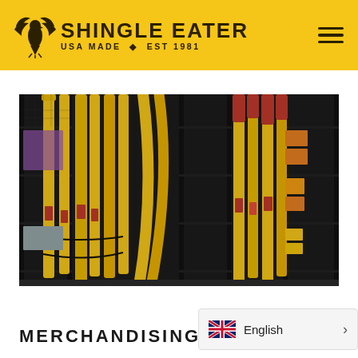[Figure (logo): Shingle Eater logo with eagle and text 'SHINGLE EATER USA MADE ✦ EST 1981' on yellow background header]
[Figure (photo): Photo of yellow and red Shingle Eater tools/rakes displayed on black metal shelving in a store]
MERCHANDISING TECHNIQU